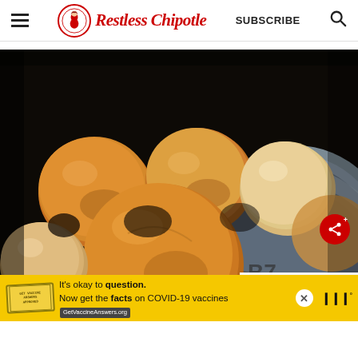Restless Chipotle — SUBSCRIBE
[Figure (photo): Photo of golden-brown bread rolls in a silver bowl, with another bowl partially visible on the right side. Dark background. A share button overlay and a 'What's Next: Crockpot Angel Chicken' overlay are visible in the lower right corner. An advertisement banner at the bottom reads 'It's okay to question. Now get the facts on COVID-19 vaccines GetVaccineAnswers.org']